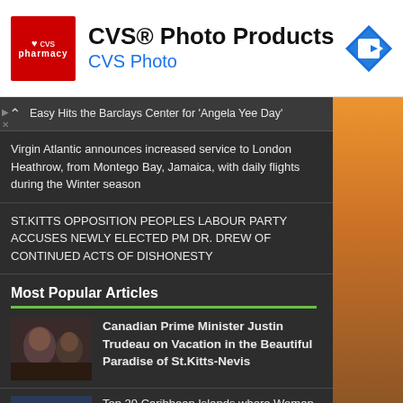[Figure (advertisement): CVS Pharmacy advertisement banner with logo, 'CVS® Photo Products' title, 'CVS Photo' subtitle in blue, and a blue navigation arrow icon on the right]
Easy Hits the Barclays Center for 'Angela Yee Day'
Virgin Atlantic announces increased service to London Heathrow, from Montego Bay, Jamaica, with daily flights during the Winter season
ST.KITTS OPPOSITION PEOPLES LABOUR PARTY ACCUSES NEWLY ELECTED PM DR. DREW OF CONTINUED ACTS OF DISHONESTY
Most Popular Articles
Canadian Prime Minister Justin Trudeau on Vacation in the Beautiful Paradise of St.Kitts-Nevis
Top 20 Caribbean Islands where Women have the Biggest Bottoms
Carl Lewis raises doubts over Usain Bolt's record-setting